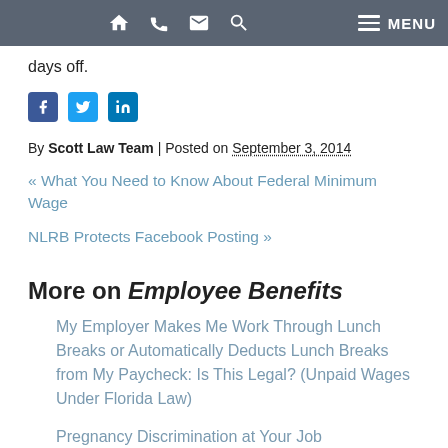Navigation bar with home, phone, email, search, and MENU icons
days off.
[Figure (other): Social media share icons: Facebook, Twitter, LinkedIn]
By Scott Law Team | Posted on September 3, 2014
« What You Need to Know About Federal Minimum Wage
NLRB Protects Facebook Posting »
More on Employee Benefits
My Employer Makes Me Work Through Lunch Breaks or Automatically Deducts Lunch Breaks from My Paycheck: Is This Legal? (Unpaid Wages Under Florida Law)
Pregnancy Discrimination at Your Job
Workplace Safety: Texting while Driving
When is Work Travel Time Compensated?